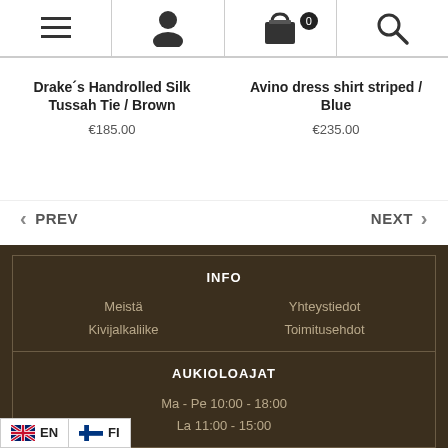[Figure (screenshot): Navigation bar with hamburger menu, user icon, basket (0 items), and search icon]
Drake´s Handrolled Silk Tussah Tie / Brown
€185.00
Avino dress shirt striped / Blue
€235.00
< PREV
NEXT >
INFO
Meistä
Yhteystiedot
Kivijalkaliike
Toimitusehdot
AUKIOLOAJAT
Ma - Pe 10:00 - 18:00
La 11:00 - 15:00
EN   FI